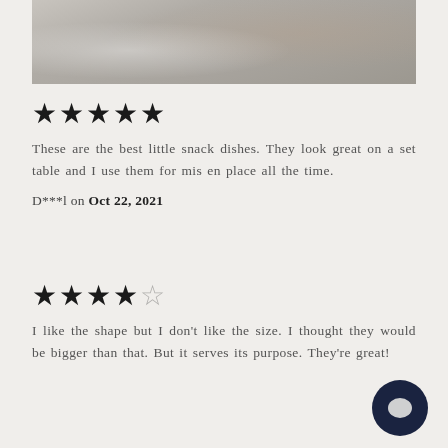[Figure (photo): Top portion of a table setting photo showing white plates, silverware, linen napkins, and a charcuterie/food board on a white tablecloth]
★★★★★
These are the best little snack dishes. They look great on a set table and I use them for mis en place all the time.
D***l on Oct 22, 2021
★★★★☆
I like the shape but I don't like the size. I thought they would be bigger than that. But it serves its purpose. They're great!